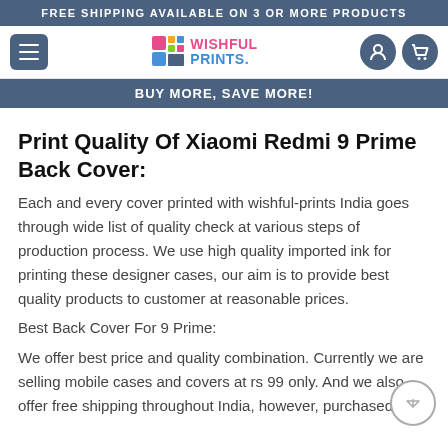FREE SHIPPING AVAILABLE ON 3 OR MORE PRODUCTS
[Figure (logo): Wishful Prints logo with colorful grid icon and brand name in pink and blue text]
BUY MORE, SAVE MORE!
Print Quality Of Xiaomi Redmi 9 Prime Back Cover:
Each and every cover printed with wishful-prints India goes through wide list of quality check at various steps of production process. We use high quality imported ink for printing these designer cases, our aim is to provide best quality products to customer at reasonable prices.
Best Back Cover For 9 Prime:
We offer best price and quality combination. Currently we are selling mobile cases and covers at rs 99 only. And we also offer free shipping throughout India, however, purchased